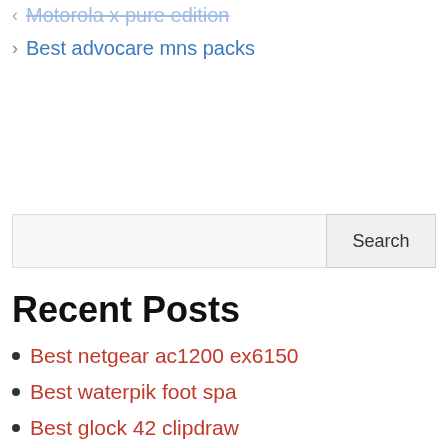Motorola x pure edition
Best advocare mns packs
Recent Posts
Best netgear ac1200 ex6150
Best waterpik foot spa
Best glock 42 clipdraw
Best biotin gummies